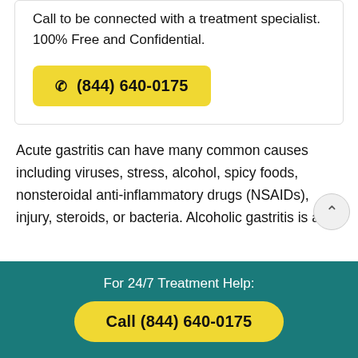Call to be connected with a treatment specialist. 100% Free and Confidential.
☎ (844) 640-0175
Acute gastritis can have many common causes including viruses, stress, alcohol, spicy foods, nonsteroidal anti-inflammatory drugs (NSAIDs), injury, steroids, or bacteria. Alcoholic gastritis is a form of acute gastritis.
For 24/7 Treatment Help:
Call (844) 640-0175